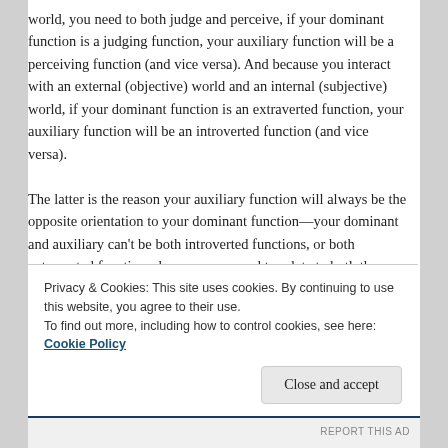world, you need to both judge and perceive, if your dominant function is a judging function, your auxiliary function will be a perceiving function (and vice versa). And because you interact with an external (objective) world and an internal (subjective) world, if your dominant function is an extraverted function, your auxiliary function will be an introverted function (and vice versa).
The latter is the reason your auxiliary function will always be the opposite orientation to your dominant function—your dominant and auxiliary can't be both introverted functions, or both extroverted functions, because you need to relate to both the external and internal worlds, both the world of things and people
Privacy & Cookies: This site uses cookies. By continuing to use this website, you agree to their use.
To find out more, including how to control cookies, see here: Cookie Policy